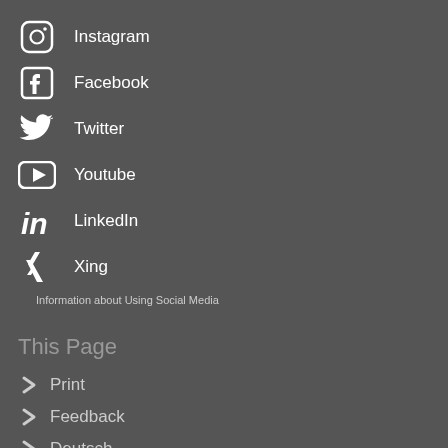Instagram
Facebook
Twitter
Youtube
LinkedIn
Xing
Information about Using Social Media
This Page
Print
Feedback
Deutsch